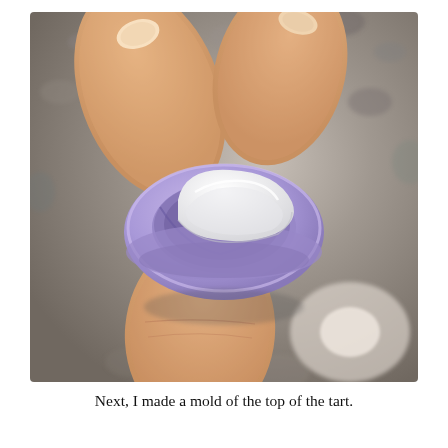[Figure (photo): A person holding a small lavender/purple circular mold between their fingers. A white clay or fondant piece is being pressed into the mold on a granite countertop background.]
Next, I made a mold of the top of the tart.